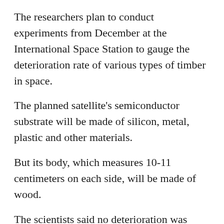The researchers plan to conduct experiments from December at the International Space Station to gauge the deterioration rate of various types of timber in space.
The planned satellite's semiconductor substrate will be made of silicon, metal, plastic and other materials.
But its body, which measures 10-11 centimeters on each side, will be made of wood.
The scientists said no deterioration was detected in the quality of Japanese big-leaf magnolia, hinoki cypress and cedar trees after they were left for about three years in a lab with an atmospheric pressure equivalent to a location 100 kilometers high.
In the project, the scientists will study how space affects wood by exposing three varieties of trees with different hardness--Japanese big-leaf magnolia, mountain cherry